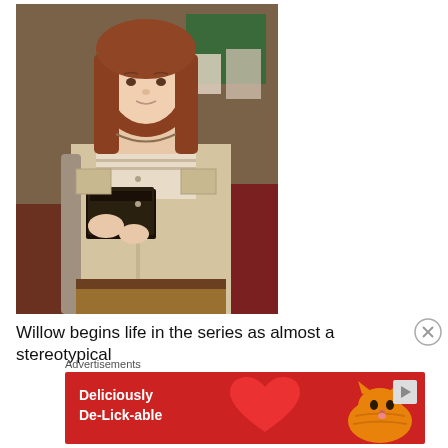[Figure (photo): Young woman with long red hair, wearing a beige jacket and holding books, standing in what appears to be a library or classroom setting]
Willow begins life in the series as almost a stereotypical
Advertisements
[Figure (other): Advertisement banner with red background showing a cat and text 'Deliciously De-Lick-able']